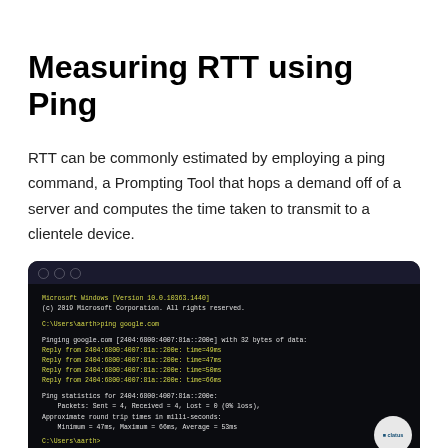Measuring RTT using Ping
RTT can be commonly estimated by employing a ping command, a Prompting Tool that hops a demand off of a server and computes the time taken to transmit to a clientele device.
[Figure (screenshot): A terminal/command prompt screenshot showing a ping command to google.com with IPv6 address 2404:6800:4007:81a::200e, displaying 4 replies with times of 49ms, 47ms, 50ms, 66ms, and ping statistics showing Sent=4, Received=4, Lost=0 (0% loss), Minimum=47ms, Maximum=66ms, Average=53ms. Shown with a dark themed terminal window with three dot icons in the title bar and a circular logo badge in the bottom right.]
Ping